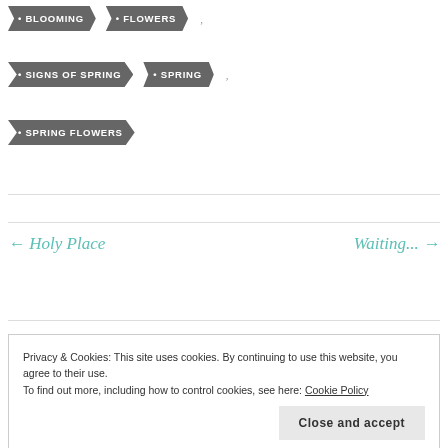• BLOOMING
• FLOWERS
• SIGNS OF SPRING
• SPRING
• SPRING FLOWERS
← Holy Place
Waiting... →
Privacy & Cookies: This site uses cookies. By continuing to use this website, you agree to their use.
To find out more, including how to control cookies, see here: Cookie Policy
Close and accept